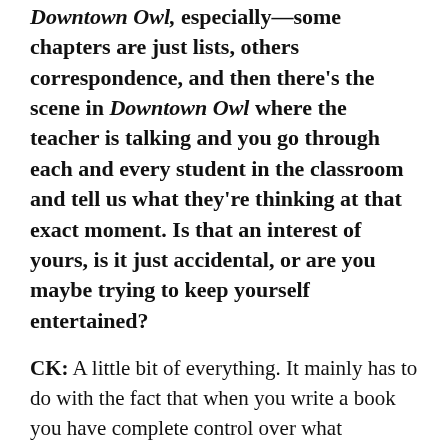Downtown Owl, especially—some chapters are just lists, others correspondence, and then there's the scene in Downtown Owl where the teacher is talking and you go through each and every student in the classroom and tell us what they're thinking at that exact moment. Is that an interest of yours, is it just accidental, or are you maybe trying to keep yourself entertained?
CK: A little bit of everything. It mainly has to do with the fact that when you write a book you have complete control over what structure is. I think a lot of writers fail to realize that, particularly writers who go through MFA programs or started their lives wanting to be another writer. I think a lot of writers feel like